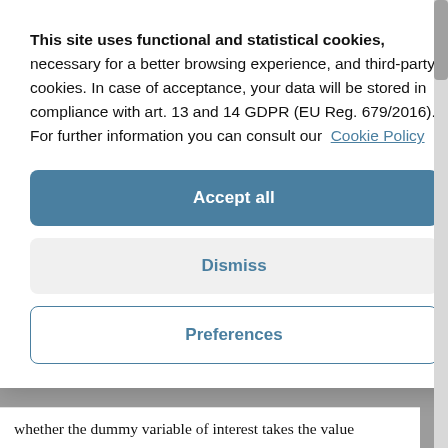This site uses functional and statistical cookies, necessary for a better browsing experience, and third-party cookies. In case of acceptance, your data will be stored in compliance with art. 13 and 14 GDPR (EU Reg. 679/2016). For further information you can consult our Cookie Policy
Accept all
Dismiss
Preferences
whether the dummy variable of interest takes the value